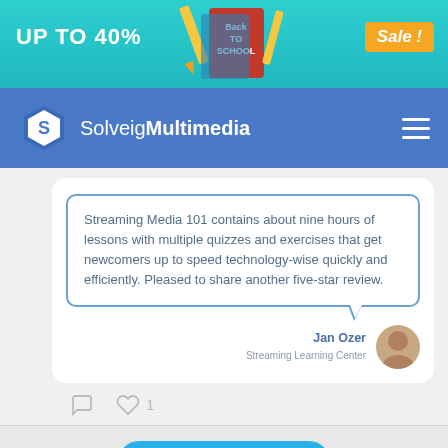[Figure (illustration): Back to School sale banner with teal background, 'UP TO 40%' text, books illustration, and 'Sale!' orange badge]
Solveig Multimedia
Streaming Media 101 contains about nine hours of lessons with multiple quizzes and exercises that get newcomers up to speed technology-wise quickly and efficiently. Pleased to share another five-star review.
Jan Ozer
Streaming Learning Center
♡ 1
Twitter🐦📣📢💬🔔